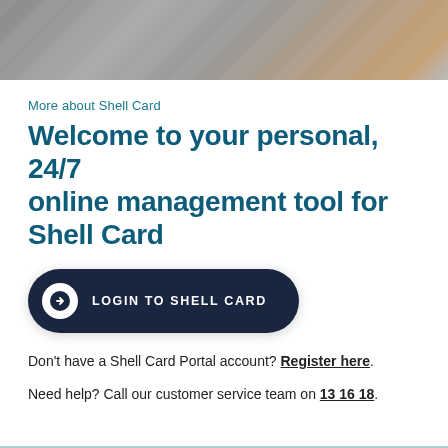[Figure (photo): Blurred hero image of keyboard/desk with grey and warm brown tones]
More about Shell Card
Welcome to your personal, 24/7 online management tool for Shell Card
LOGIN TO SHELL CARD
Don't have a Shell Card Portal account? Register here.
Need help? Call our customer service team on 13 16 18.